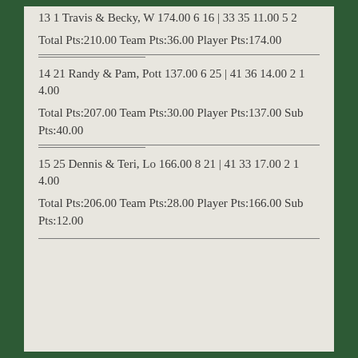13 1 Travis & Becky, W 174.00 6 16 | 33 35 11.00 5 2
Total Pts:210.00 Team Pts:36.00 Player Pts:174.00
14 21 Randy & Pam, Pott 137.00 6 25 | 41 36 14.00 2 1 4.00
Total Pts:207.00 Team Pts:30.00 Player Pts:137.00 Sub Pts:40.00
15 25 Dennis & Teri, Lo 166.00 8 21 | 41 33 17.00 2 1 4.00
Total Pts:206.00 Team Pts:28.00 Player Pts:166.00 Sub Pts:12.00